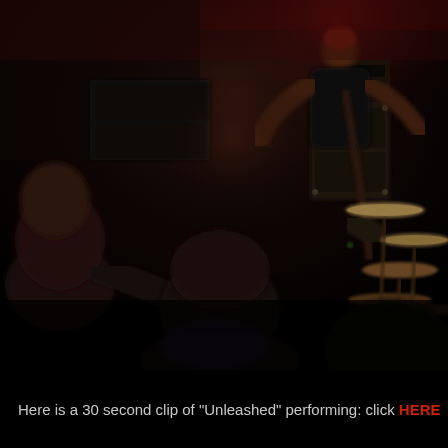[Figure (photo): Dark, blurry concert photo showing band members on stage including a guitarist in a black t-shirt, with audience members in the foreground and musical equipment including drum cymbals visible. Red stage lighting illuminates the upper portion. The scene is a heavy metal or rock concert.]
Here is a 30 second clip of "Unleashed" performing: click HERE